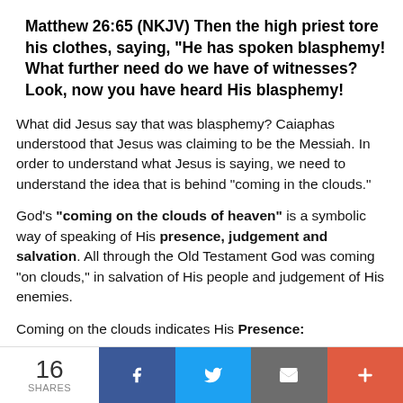Matthew 26:65 (NKJV) Then the high priest tore his clothes, saying, "He has spoken blasphemy! What further need do we have of witnesses? Look, now you have heard His blasphemy!
What did Jesus say that was blasphemy? Caiaphas understood that Jesus was claiming to be the Messiah. In order to understand what Jesus is saying, we need to understand the idea that is behind "coming in the clouds."
God's "coming on the clouds of heaven" is a symbolic way of speaking of His presence, judgement and salvation. All through the Old Testament God was coming "on clouds," in salvation of His people and judgement of His enemies.
Coming on the clouds indicates His Presence:
16 SHARES | Facebook | Twitter | Email | More